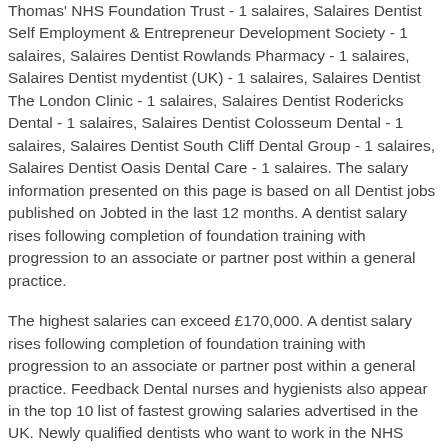Thomas' NHS Foundation Trust - 1 salaires, Salaires Dentist Self Employment & Entrepreneur Development Society - 1 salaires, Salaires Dentist Rowlands Pharmacy - 1 salaires, Salaires Dentist mydentist (UK) - 1 salaires, Salaires Dentist The London Clinic - 1 salaires, Salaires Dentist Rodericks Dental - 1 salaires, Salaires Dentist Colosseum Dental - 1 salaires, Salaires Dentist South Cliff Dental Group - 1 salaires, Salaires Dentist Oasis Dental Care - 1 salaires. The salary information presented on this page is based on all Dentist jobs published on Jobted in the last 12 months. A dentist salary rises following completion of foundation training with progression to an associate or partner post within a general practice.
The highest salaries can exceed £170,000. A dentist salary rises following completion of foundation training with progression to an associate or partner post within a general practice. Feedback Dental nurses and hygienists also appear in the top 10 list of fastest growing salaries advertised in the UK. Newly qualified dentists who want to work in the NHS must undertake dental